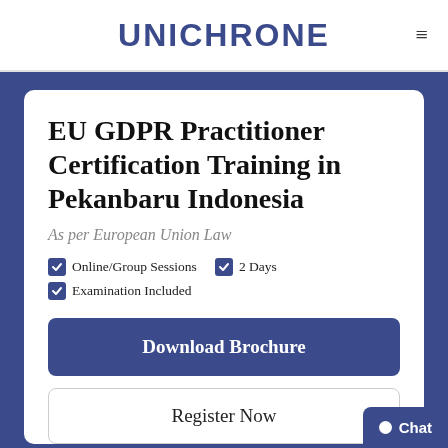UNICHRONE
EU GDPR Practitioner Certification Training in Pekanbaru Indonesia
As per European Union Law
Online/Group Sessions
2 Days
Examination Included
Download Brochure
Register Now